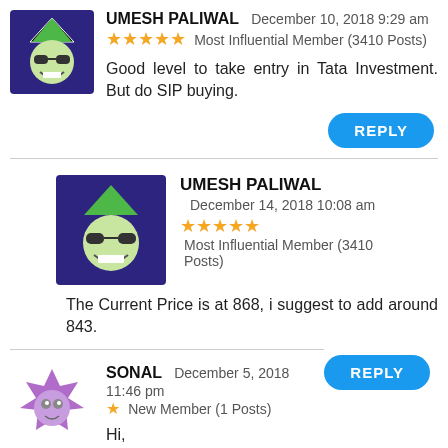UMESH PALIWAL  December 10, 2018 9:29 am  ★★★★★ Most Influential Member (3410 Posts)
Good level to take entry in Tata Investment. But do SIP buying.
UMESH PALIWAL  December 14, 2018 10:08 am  ★★★★★ Most Influential Member (3410 Posts)
The Current Price is at 868, i suggest to add around 843.
SONAL  December 5, 2018 11:46 pm  ★ New Member (1 Posts)
Hi,
I am new to trading. Planning to buy around 10 shares. Will that be a good option and how much will